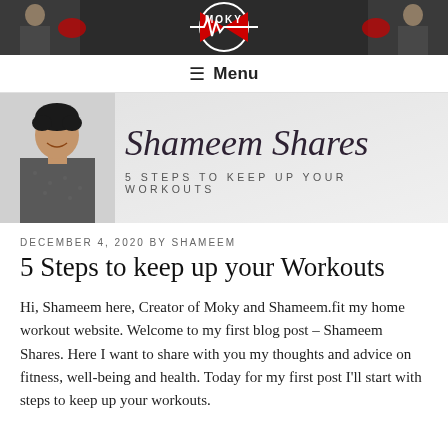[Figure (photo): Website header banner with logo 'MOKY' featuring a heartbeat/EKG line graphic in red and white, two people in red boxing gloves on dark background]
≡  Menu
[Figure (photo): Shameem Shares blog banner with photo of Shameem on grey background, script text 'Shameem Shares' and subtitle '5 STEPS TO KEEP UP YOUR WORKOUTS']
DECEMBER 4, 2020 BY SHAMEEM
5 Steps to keep up your Workouts
Hi, Shameem here, Creator of Moky and Shameem.fit my home workout website. Welcome to my first blog post – Shameem Shares. Here I want to share with you my thoughts and advice on fitness, well-being and health. Today for my first post I'll start with steps to keep up your workouts.